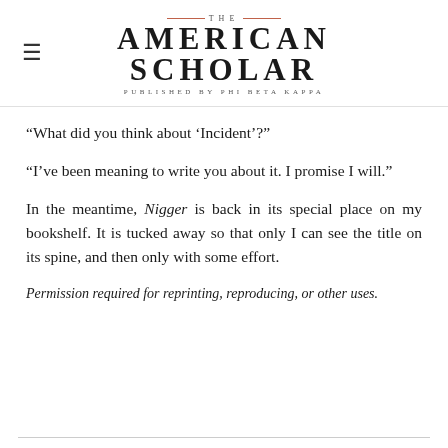THE AMERICAN SCHOLAR — PUBLISHED BY PHI BETA KAPPA
“What did you think about ‘Incident’?”
“I’ve been meaning to write you about it. I promise I will.”
In the meantime, Nigger is back in its special place on my bookshelf. It is tucked away so that only I can see the title on its spine, and then only with some effort.
Permission required for reprinting, reproducing, or other uses.